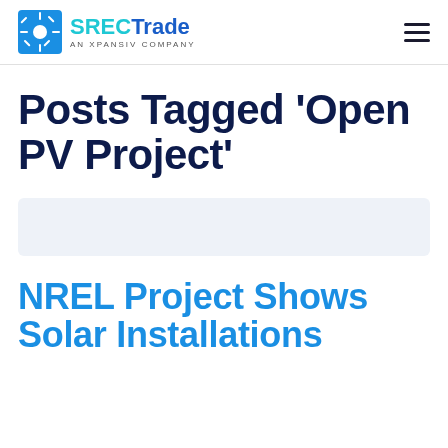SRECTrade AN XPANSIV COMPANY
Posts Tagged ‘Open PV Project’
[Figure (other): Light blue placeholder card / image area]
NREL Project Shows Solar Installations